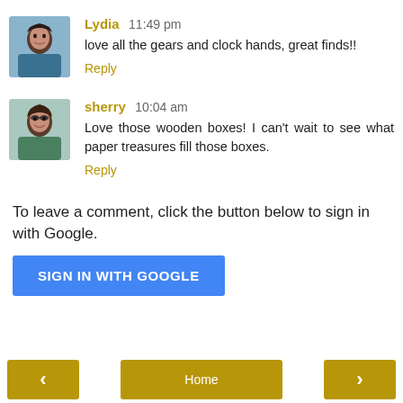Lydia 11:49 pm
love all the gears and clock hands, great finds!!
Reply
sherry 10:04 am
Love those wooden boxes! I can't wait to see what paper treasures fill those boxes.
Reply
To leave a comment, click the button below to sign in with Google.
SIGN IN WITH GOOGLE
< Home >